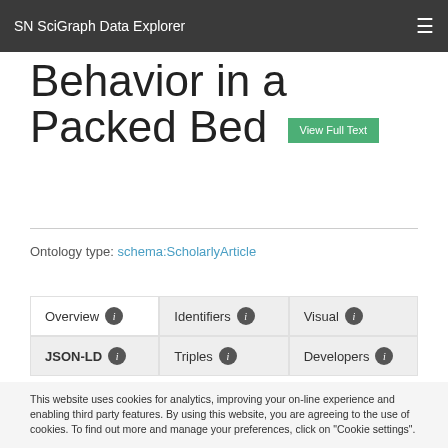SN SciGraph Data Explorer
Behavior in a Packed Bed
Ontology type: schema:ScholarlyArticle
Overview | Identifiers | Visual | JSON-LD | Triples | Developers
This website uses cookies for analytics, improving your on-line experience and enabling third party features. By using this website, you are agreeing to the use of cookies. To find out more and manage your preferences, click on "Cookie settings".